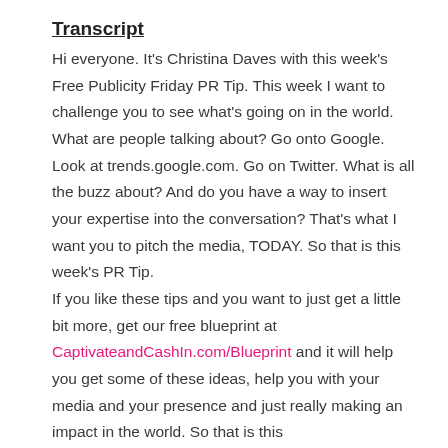Transcript
Hi everyone. It's Christina Daves with this week's Free Publicity Friday PR Tip. This week I want to challenge you to see what's going on in the world. What are people talking about? Go onto Google. Look at trends.google.com. Go on Twitter. What is all the buzz about? And do you have a way to insert your expertise into the conversation? That's what I want you to pitch the media, TODAY. So that is this week's PR Tip. If you like these tips and you want to just get a little bit more, get our free blueprint at CaptivateandCashIn.com/Blueprint and it will help you get some of these ideas, help you with your media and your presence and just really making an impact in the world. So that is this